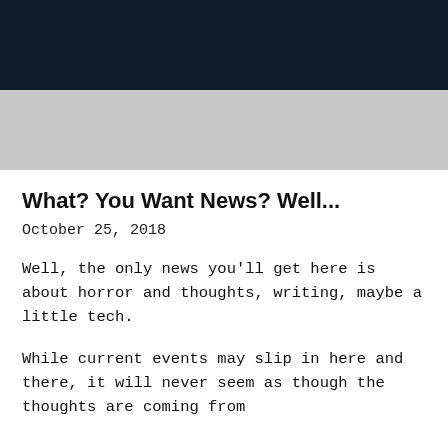[Figure (photo): Dark navy/black header image background at top of page]
[Figure (photo): Light gray banner/header image below dark header]
What? You Want News? Well...
October 25, 2018
Well, the only news you'll get here is about horror and thoughts, writing, maybe a little tech.
While current events may slip in here and there, it will never seem as though the thoughts are coming from